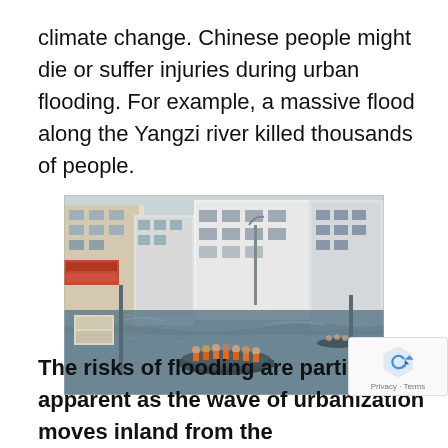climate change. Chinese people might die or suffer injuries during urban flooding. For example, a massive flood along the Yangzi river killed thousands of people.
[Figure (photo): Aerial/street-level photograph of a flooded Chinese urban street. Buildings line both sides of a completely flooded road. A rescue boat filled with people in orange life vests navigates through the floodwaters. The water level is very high, partially submerging street signs and lower building floors.]
The risks of flooding are particularly apparent as the wave of urbanization moves inland from the